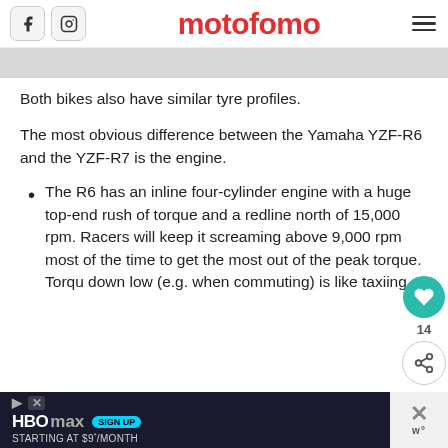motofomo
[Figure (screenshot): Gray image placeholder bar]
Both bikes also have similar tyre profiles.
The most obvious difference between the Yamaha YZF-R6 and the YZF-R7 is the engine.
The R6 has an inline four-cylinder engine with a huge top-end rush of torque and a redline north of 15,000 rpm. Racers will keep it screaming above 9,000 rpm most of the time to get the most out of the peak torque. Torqu down low (e.g. when commuting) is like taxiing
[Figure (screenshot): HBO Max advertisement bar at bottom: SIGN UP STARTING AT $9*/MONTH]